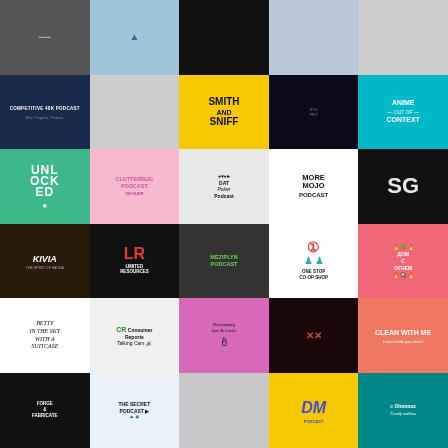[Figure (illustration): Grid of podcast cover art thumbnails arranged in 5 columns and 6+ rows. Includes: Competitive 40K Podcast, Smith and Sniff, Anime Out of Context, Unlocked, Clutterbug Podcast, DAT Poker Podcast, More Mojo Podcast, SG, Kivia The Spirit of Sauna, Limited Resources, Meziplyn Podcast, One Stop Co-op Shop, Betty in the Sky with a Suitcase, Consumer Reports Talking Cars, Decorating Tips & Tricks, Clean With Me, Forge and Fabricate, The Secret Podcast, dm Podcast, Olomouc Cesky rozhlas, Naviják, Airline, and others.]